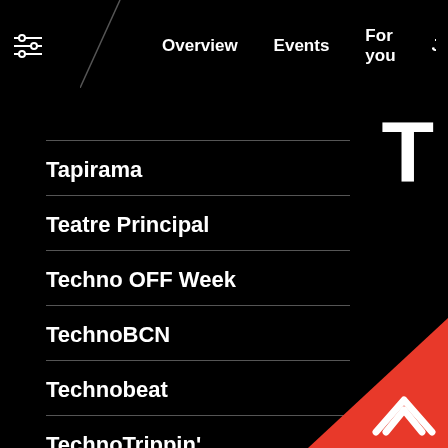Overview  Events  For you  Just annound
Tapirama
Teatre Principal
Techno OFF Week
TechnoBCN
Technobeat
TechnoTrippin'